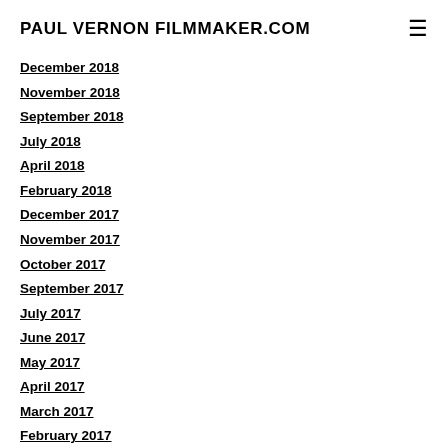PAUL VERNON FILMMAKER.COM
December 2018
November 2018
September 2018
July 2018
April 2018
February 2018
December 2017
November 2017
October 2017
September 2017
July 2017
June 2017
May 2017
April 2017
March 2017
February 2017